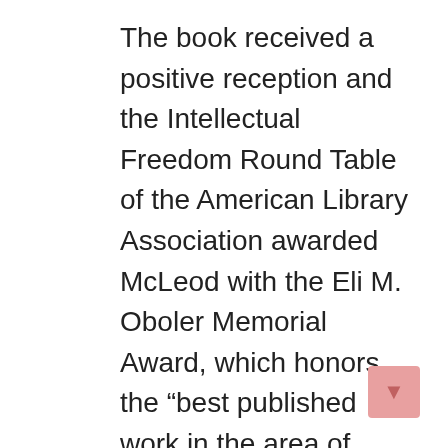The book received a positive reception and the Intellectual Freedom Round Table of the American Library Association awarded McLeod with the Eli M. Oboler Memorial Award, which honors the “best published work in the area of intellectual freedom”. A review in The American Scholar said that McLeod “… delivers a lively, personal account of the ways of intellectual property with people-and-how with masses of intellectual property.” American Book Review said the work is “a compendium of examples” for those familiar with its subject matter. The Journal of Popular Culture called it “an informative, thought-provoking, and occasionally laugh-out-loud funny examination of specific ways the privatization of ideas suppresses creativity in contemporary…